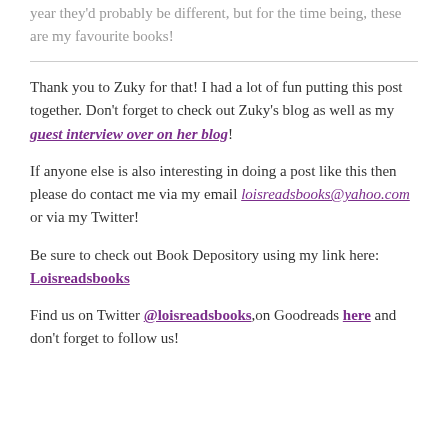year they'd probably be different, but for the time being, these are my favourite books!
Thank you to Zuky for that! I had a lot of fun putting this post together. Don't forget to check out Zuky's blog as well as my guest interview over on her blog!
If anyone else is also interesting in doing a post like this then please do contact me via my email loisreadsbooks@yahoo.com or via my Twitter!
Be sure to check out Book Depository using my link here: Loisreadsbooks
Find us on Twitter @loisreadsbooks, on Goodreads here and don't forget to follow us!